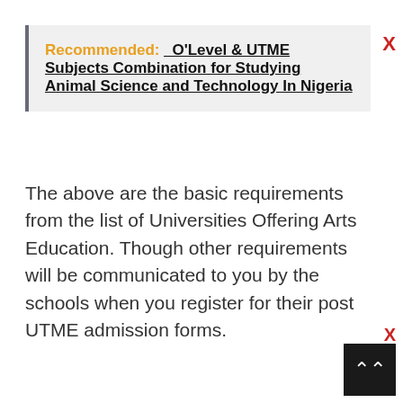Recommended: O'Level & UTME Subjects Combination for Studying Animal Science and Technology In Nigeria
The above are the basic requirements from the list of Universities Offering Arts Education. Though other requirements will be communicated to you by the schools when you register for their post UTME admission forms.